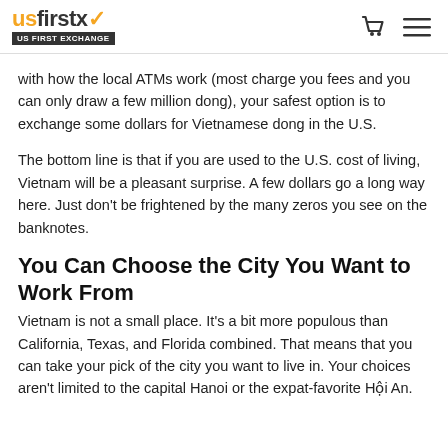usfirstx US FIRST EXCHANGE
with how the local ATMs work (most charge you fees and you can only draw a few million dong), your safest option is to exchange some dollars for Vietnamese dong in the U.S.
The bottom line is that if you are used to the U.S. cost of living, Vietnam will be a pleasant surprise. A few dollars go a long way here. Just don't be frightened by the many zeros you see on the banknotes.
You Can Choose the City You Want to Work From
Vietnam is not a small place. It's a bit more populous than California, Texas, and Florida combined. That means that you can take your pick of the city you want to live in. Your choices aren't limited to the capital Hanoi or the expat-favorite Hội An.